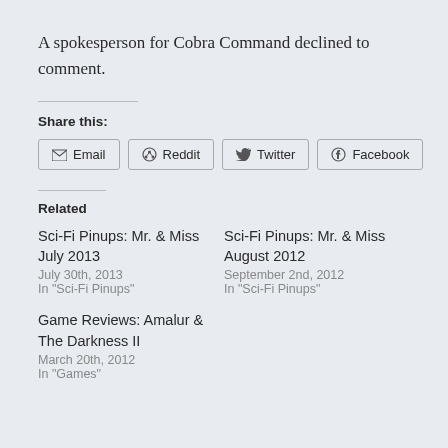A spokesperson for Cobra Command declined to comment.
Share this:
Email  Reddit  Twitter  Facebook
Related
Sci-Fi Pinups: Mr. & Miss July 2013
July 30th, 2013
In "Sci-Fi Pinups"
Sci-Fi Pinups: Mr. & Miss August 2012
September 2nd, 2012
In "Sci-Fi Pinups"
Game Reviews: Amalur & The Darkness II
March 20th, 2012
In "Games"